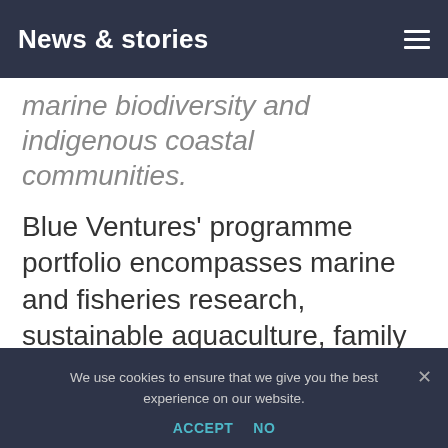News & stories
marine biodiversity and indigenous coastal communities.
Blue Ventures' programme portfolio encompasses marine and fisheries research, sustainable aquaculture, family planning, environmental education and capacity building, fisheries management and protected area development.
We use cookies to ensure that we give you the best experience on our website.
ACCEPT   NO